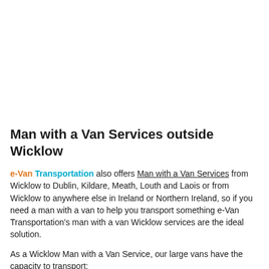Man with a Van Services outside Wicklow
e-Van Transportation also offers Man with a Van Services from Wicklow to Dublin, Kildare, Meath, Louth and Laois or from Wicklow to anywhere else in Ireland or Northern Ireland, so if you need a man with a van to help you transport something e-Van Transportation's man with a van Wicklow services are the ideal solution.
As a Wicklow Man with a Van Service, our large vans have the capacity to transport:
– Large pieces of furniture, including: Tables and chairs